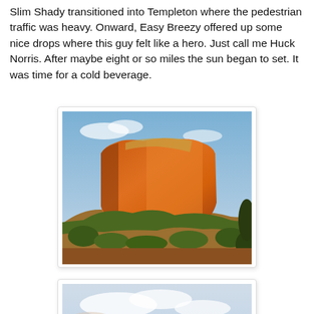Slim Shady transitioned into Templeton where the pedestrian traffic was heavy. Onward, Easy Breezy offered up some nice drops where this guy felt like a hero. Just call me Huck Norris. After maybe eight or so miles the sun began to set. It was time for a cold beverage.
[Figure (photo): A large red sandstone butte (Courthouse Butte, Sedona AZ area) glowing orange in golden-hour light, with green desert scrub at its base and a blue sky with a few clouds behind it.]
[Figure (photo): Partial view of a sky with clouds, likely another outdoor landscape photo, partially visible at bottom of page.]